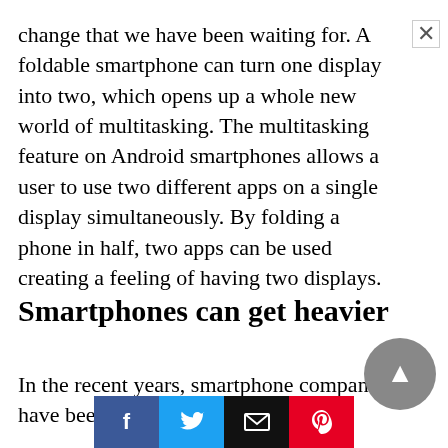change that we have been waiting for. A foldable smartphone can turn one display into two, which opens up a whole new world of multitasking. The multitasking feature on Android smartphones allows a user to use two different apps on a single display simultaneously. By folding a phone in half, two apps can be used creating a feeling of having two displays.
Smartphones can get heavier
In the recent years, smartphone companies have been
[Figure (other): Social share bar with Facebook (blue), Twitter (light blue), Email (black), and Pinterest (red) buttons]